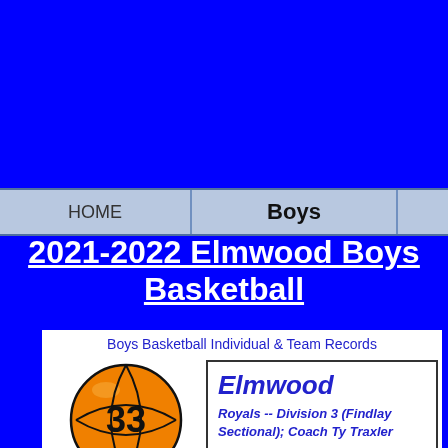HOME | Boys
2021-2022 Elmwood Boys Basketball
Boys Basketball Individual & Team Records
[Figure (illustration): Basketball with number 33 on it]
Boys
| Date | Opponent | W/L | Score |
| --- | --- | --- | --- |
| Saturday 03-Dec-Away | North Baltimore | W | 64- |